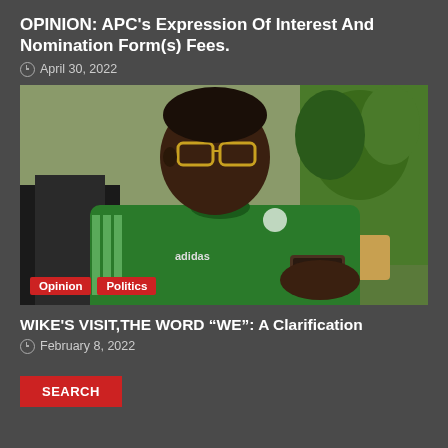OPINION: APC's Expression Of Interest And Nomination Form(s) Fees.
April 30, 2022
[Figure (photo): A man wearing a green Adidas Nigeria football jersey and glasses, sitting and looking at a phone or tablet. A plant is visible in the background. Tags 'Opinion' and 'Politics' overlaid at the bottom left.]
WIKE'S VISIT,THE WORD “WE”: A Clarification
February 8, 2022
SEARCH